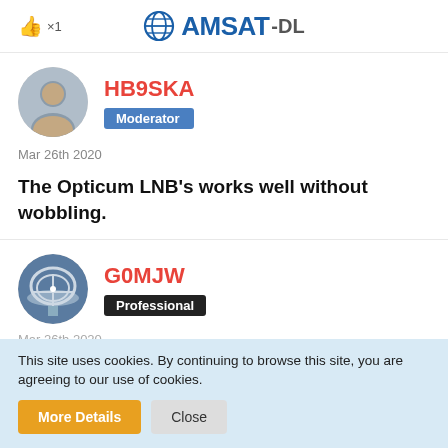[Figure (logo): AMSAT-DL logo with globe icon and bold blue text]
👍 ×1
[Figure (photo): Circular avatar photo of HB9SKA user (man smiling)]
HB9SKA
Moderator
Mar 26th 2020
The Opticum LNB's works well without wobbling.
[Figure (photo): Circular avatar photo of G0MJW user (satellite dish)]
G0MJW
Professional
Mar 26th 2020
This site uses cookies. By continuing to browse this site, you are agreeing to our use of cookies.
More Details
Close